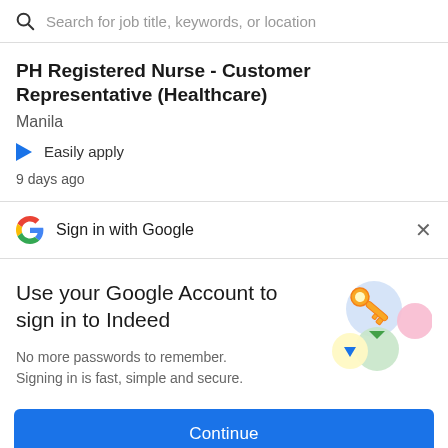Search for job title, keywords, or location
PH Registered Nurse - Customer Representative (Healthcare)
Manila
Easily apply
9 days ago
Sign in with Google
Use your Google Account to sign in to Indeed
No more passwords to remember. Signing in is fast, simple and secure.
[Figure (illustration): Google key illustration with colorful circles and a key icon]
Continue